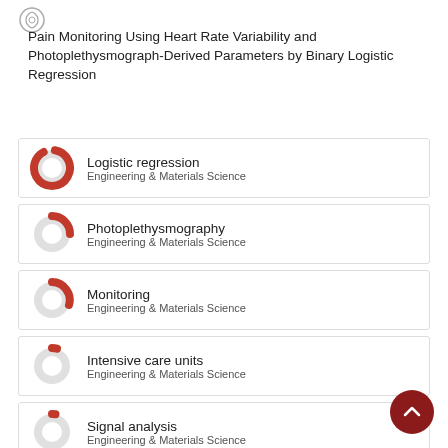[Figure (logo): Circular spiral logo icon]
Pain Monitoring Using Heart Rate Variability and Photoplethysmograph-Derived Parameters by Binary Logistic Regression
Logistic regression
Engineering & Materials Science
Photoplethysmography
Engineering & Materials Science
Monitoring
Engineering & Materials Science
Intensive care units
Engineering & Materials Science
Signal analysis
Engineering & Materials Science